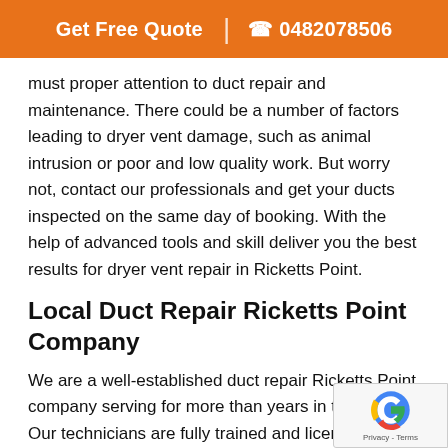Get Free Quote | 0482078506
must proper attention to duct repair and maintenance. There could be a number of factors leading to dryer vent damage, such as animal intrusion or poor and low quality work. But worry not, contact our professionals and get your ducts inspected on the same day of booking. With the help of advanced tools and skill deliver you the best results for dryer vent repair in Ricketts Point.
Local Duct Repair Ricketts Point Company
We are a well-established duct repair Ricketts Point company serving for more than years in the niche. Our technicians are fully trained and licensed and deliver you only the best services for duct repair. Our up-to-date equipment and advanced skills...